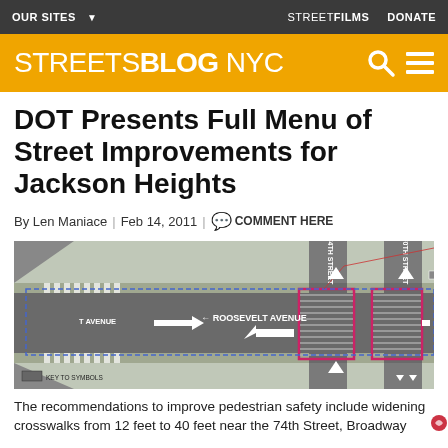OUR SITES ▾   STREETFILMS   DONATE
STREETSBLOG NYC
DOT Presents Full Menu of Street Improvements for Jackson Heights
By Len Maniace | Feb 14, 2011 | COMMENT HERE
[Figure (engineering-diagram): Street improvement plan diagram showing Roosevelt Avenue intersection with 74th Street and 70th Street, with pink highlighted boxes showing proposed pedestrian safety improvements including widened crosswalks, and various engineering annotations.]
The recommendations to improve pedestrian safety include widening crosswalks from 12 feet to 40 feet near the 74th Street, Broadway